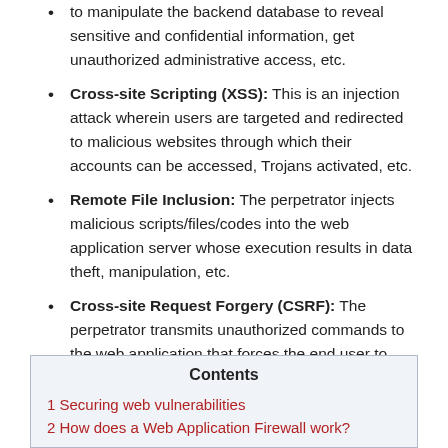to manipulate the backend database to reveal sensitive and confidential information, get unauthorized administrative access, etc.
Cross-site Scripting (XSS): This is an injection attack wherein users are targeted and redirected to malicious websites through which their accounts can be accessed, Trojans activated, etc.
Remote File Inclusion: The perpetrator injects malicious scripts/files/codes into the web application server whose execution results in data theft, manipulation, etc.
Cross-site Request Forgery (CSRF): The perpetrator transmits unauthorized commands to the web application that forces the end user to perform unwanted actions that could result in unsolicited fund transfers, changed passwords, etc.
| Contents |
| --- |
| 1 Securing web vulnerabilities |
| 2 How does a Web Application Firewall work? |